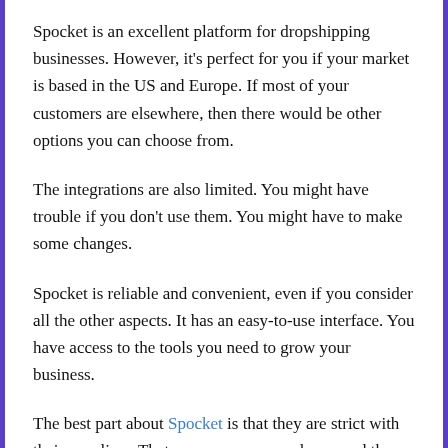Spocket is an excellent platform for dropshipping businesses. However, it's perfect for you if your market is based in the US and Europe. If most of your customers are elsewhere, then there would be other options you can choose from.
The integrations are also limited. You might have trouble if you don't use them. You might have to make some changes.
Spocket is reliable and convenient, even if you consider all the other aspects. It has an easy-to-use interface. You have access to the tools you need to grow your business.
The best part about Spocket is that they are strict with their suppliers. That means everyone who passed the application can be trusted. To verify that the quality of suppliers is consistent with their claims, you can ask for samples.
Overall, Spocket is recommended, especially if you're just starting with